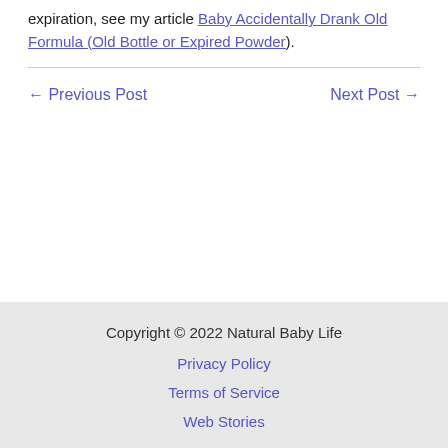expiration, see my article Baby Accidentally Drank Old Formula (Old Bottle or Expired Powder).
← Previous Post    Next Post →
Copyright © 2022 Natural Baby Life
Privacy Policy
Terms of Service
Web Stories